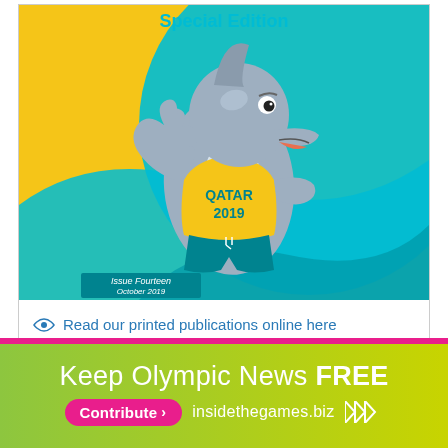[Figure (illustration): Magazine cover showing a cartoon dolphin mascot wearing a yellow QATAR 2019 t-shirt and teal shorts, giving a thumbs up, on a yellow and teal background. Text reads 'Special Edition' at top in teal, and 'Issue Fourteen October 2019' at bottom left.]
Read our printed publications online here
[Figure (infographic): Green/yellow gradient banner advertisement. Top line: 'Keep Olympic News FREE'. Bottom row: pink rounded button 'Contribute >' followed by 'insidethegames.biz' and triple right-arrow chevrons.]